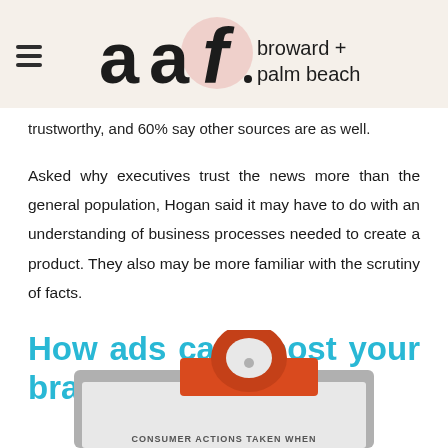aaf broward + palm beach
trustworthy, and 60% say other sources are as well.
Asked why executives trust the news more than the general population, Hogan said it may have to do with an understanding of business processes needed to create a product. They also may be more familiar with the scrutiny of facts.
How ads can boost your brand
[Figure (infographic): Clipboard infographic illustration with orange/red clipboard clip, gray clipboard body, and partial text reading 'CONSUMER ACTIONS TAKEN WHEN']